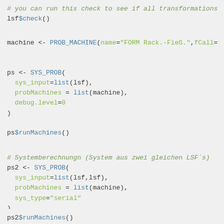# you can run this check to see if all transformations
lsf$check()
machine <- PROB_MACHINE(name="FORM Rack.-Fieß.",fCall=
ps <- SYS_PROB(
  sys_input=list(lsf),
  probMachines = list(machine),
  debug.level=0
)
ps$runMachines()
# Systemberechnungn (System aus zwei gleichen LSF´s)
ps2 <- SYS_PROB(
  sys_input=list(lsf,lsf),
  probMachines = list(machine),
  sys_type="serial"
)
ps2$runMachines()
ps2$calculateSystemProbability()